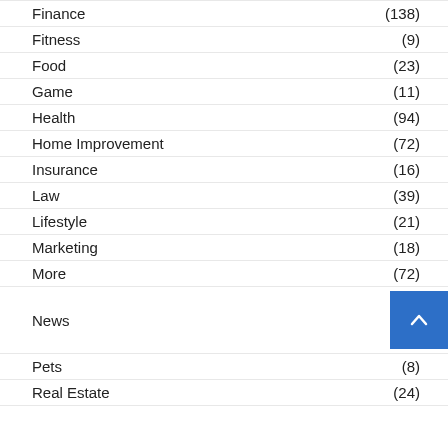Finance (138)
Fitness (9)
Food (23)
Game (11)
Health (94)
Home Improvement (72)
Insurance (16)
Law (39)
Lifestyle (21)
Marketing (18)
More (72)
News
Pets (8)
Real Estate (24)